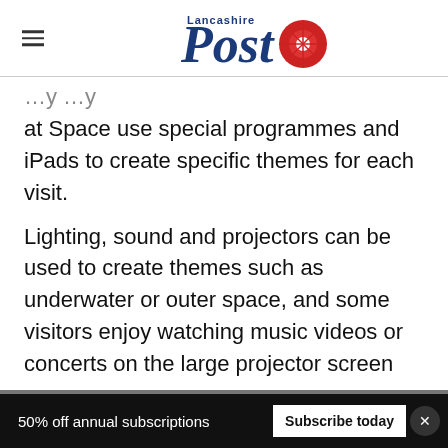Lancashire Post
…y …y at Space use special programmes and iPads to create specific themes for each visit.
Lighting, sound and projectors can be used to create themes such as underwater or outer space, and some visitors enjoy watching music videos or concerts on the large projector screen
[Figure (infographic): Social share icons row: Facebook, Twitter, WhatsApp, Email — circular dark blue outlined buttons on a grey bar]
50% off annual subscriptions  Subscribe today  ×